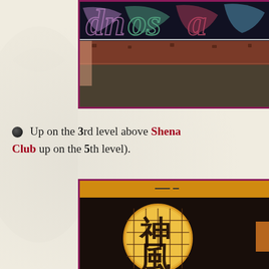[Figure (photo): Top photograph showing a colorful sign with decorative script lettering against a dark background, with a brown/brick ledge below and a metal bar across the image. Purple/magenta border around image.]
Up on the 3rd level above Shenanigans Club up on the 5th level).
[Figure (photo): Bottom photograph showing a Japanese restaurant or club entrance with an orange strip at top, dark interior, and a large illuminated circular moon design with Japanese kanji characters (神風) overlaid with a grid pattern, against a dark background. Purple/magenta border around image.]